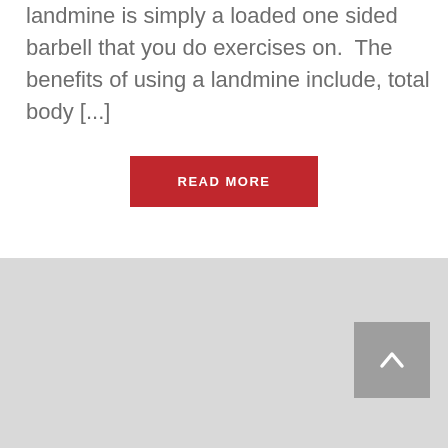landmine is simply a loaded one sided barbell that you do exercises on.  The benefits of using a landmine include, total body [...]
READ MORE
[Figure (other): Gray footer block with a scroll-to-top button containing an upward chevron arrow]